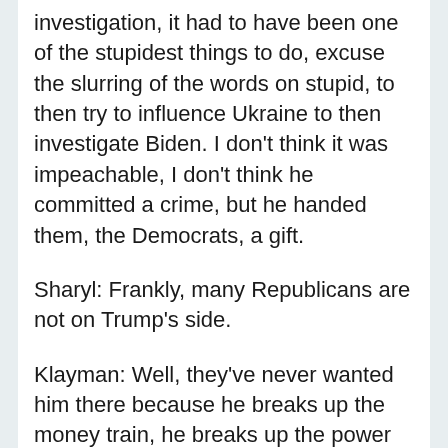investigation, it had to have been one of the stupidest things to do, excuse the slurring of the words on stupid, to then try to influence Ukraine to then investigate Biden. I don't think it was impeachable, I don't think he committed a crime, but he handed them, the Democrats, a gift.
Sharyl: Frankly, many Republicans are not on Trump's side.
Klayman: Well, they've never wanted him there because he breaks up the money train, he breaks up the power train.
Sharyl: President Trump came in promising to try to drain the swamp. Has there been any draining of the swamp here on Capitol Hill?